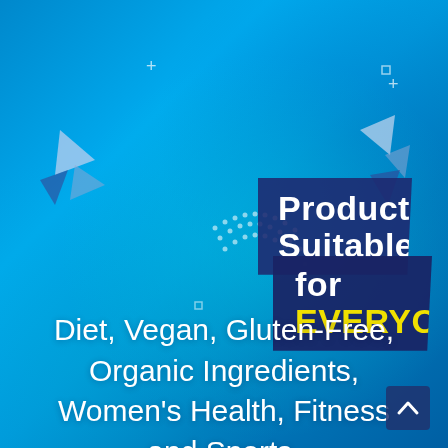[Figure (infographic): Blue/teal background with powder/supplement texture and geometric decorative shapes]
Products Suitable for EVERYONE
Diet, Vegan, Gluten-Free, Organic Ingredients, Women's Health, Fitness and Sports.